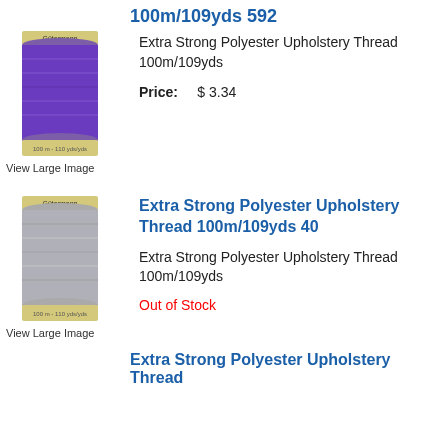100m/109yds 592
[Figure (photo): Gütermann purple thread spool]
Extra Strong Polyester Upholstery Thread 100m/109yds
Price:    $ 3.34
View Large Image
Extra Strong Polyester Upholstery Thread 100m/109yds 40
[Figure (photo): Gütermann grey thread spool]
Extra Strong Polyester Upholstery Thread 100m/109yds
Out of Stock
View Large Image
Extra Strong Polyester Upholstery Thread